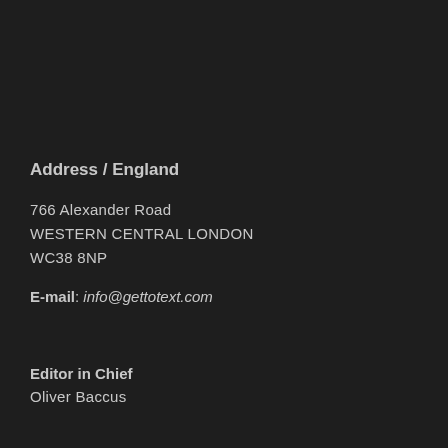Address / England
766 Alexander Road
WESTERN CENTRAL LONDON
WC38 8NP
E-mail: info@gettotext.com
Editor in Chief
Oliver Baccus